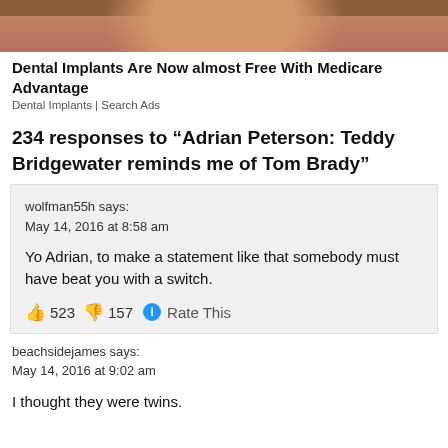[Figure (photo): Cropped photo showing the top of a person's head with dark hair, skin tones visible — advertisement image.]
Dental Implants Are Now almost Free With Medicare Advantage
Dental Implants | Search Ads
234 responses to “Adrian Peterson: Teddy Bridgewater reminds me of Tom Brady”
wolfman55h says:
May 14, 2016 at 8:58 am

Yo Adrian, to make a statement like that somebody must have beat you with a switch.

👍 523 👎 157 ℹ Rate This
beachsidejames says:
May 14, 2016 at 9:02 am

I thought they were twins.